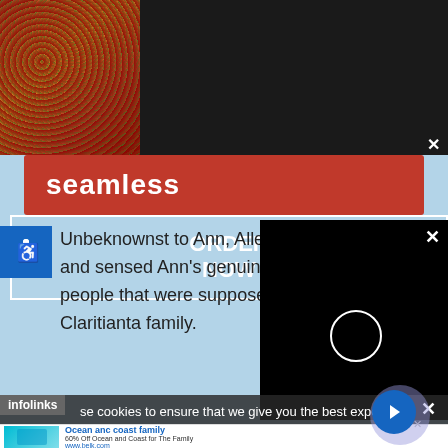[Figure (screenshot): Seamless food delivery banner ad with pizza image on left, red Seamless logo in center, and ORDER NOW button with white border on dark background]
[Figure (screenshot): Infolinks advertisement label in blue on top right]
[Figure (screenshot): Accessibility icon (wheelchair symbol) in blue square]
Unbeknownst to Ann, Alle... and sensed Ann's genuine c... people that were supposed... Claritianta family.
[Figure (screenshot): Black video player overlay with white circle/loading ring and X close button]
se cookies to ensure that we give you the best exper...ce on
[Figure (screenshot): Ocean and coast family advertisement: 60% Off Ocean and Coast for The Family, www.belk.com, with swimwear image and blue next button]